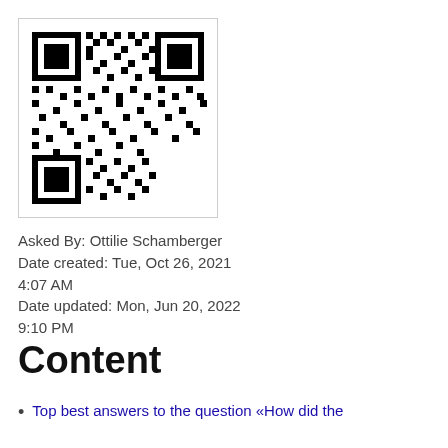[Figure (other): QR code image in a bordered box]
Asked By: Ottilie Schamberger
Date created: Tue, Oct 26, 2021 4:07 AM
Date updated: Mon, Jun 20, 2022 9:10 PM
Content
Top best answers to the question «How did the